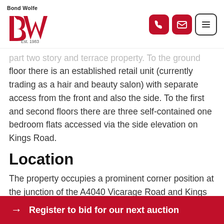[Figure (logo): Bond Wolfe logo with red 'bw' lettering and 'Est. 1983' text]
part two story and terrace property. To the ground floor there is an established retail unit (currently trading as a hair and beauty salon) with separate access from the front and also the side. To the first and second floors there are three self-contained one bedroom flats accessed via the side elevation on Kings Road.
Location
The property occupies a prominent corner position at the junction of the A4040 Vicarage Road and Kings
→ Register to bid for our next auction